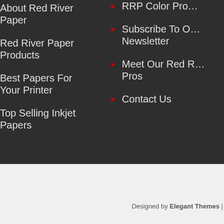About Red River Paper
Red River Paper Products
Best Papers For Your Printer
Top Selling Inkjet Papers
RRP Color Pro…
Subscribe To Our Newsletter
Meet Our Red River Pros
Contact Us
Designed by Elegant Themes |